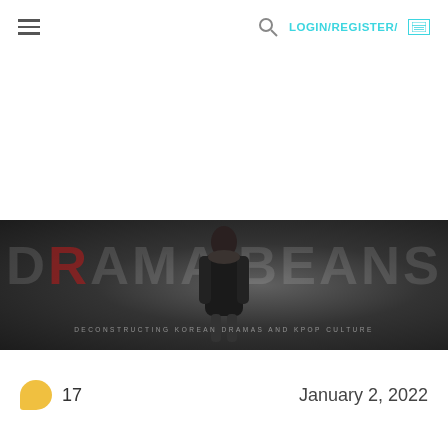≡  LOGIN/REGISTER/
[Figure (illustration): DramaBeans website banner with large bold text 'DRAMABEANS' over a dark background with a person standing in center and subtitle 'DECONSTRUCTING KOREAN DRAMAS AND KPOP CULTURE']
💬 17    January 2, 2022